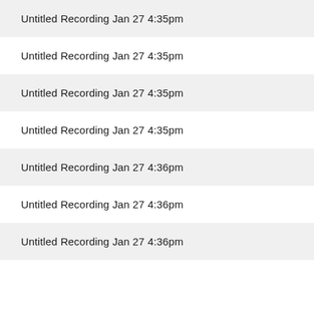Untitled Recording Jan 27 4:35pm
Untitled Recording Jan 27 4:35pm
Untitled Recording Jan 27 4:35pm
Untitled Recording Jan 27 4:35pm
Untitled Recording Jan 27 4:36pm
Untitled Recording Jan 27 4:36pm
Untitled Recording Jan 27 4:36pm